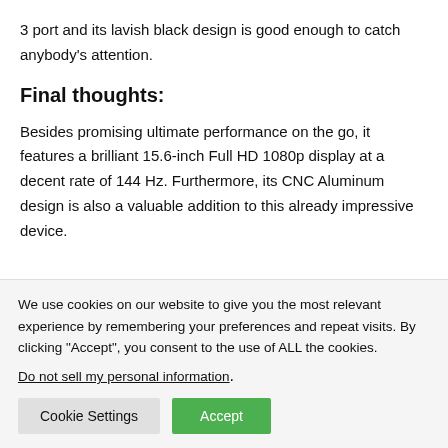3 port and its lavish black design is good enough to catch anybody's attention.
Final thoughts:
Besides promising ultimate performance on the go, it features a brilliant 15.6-inch Full HD 1080p display at a decent rate of 144 Hz. Furthermore, its CNC Aluminum design is also a valuable addition to this already impressive device.
We use cookies on our website to give you the most relevant experience by remembering your preferences and repeat visits. By clicking “Accept”, you consent to the use of ALL the cookies.
Do not sell my personal information.